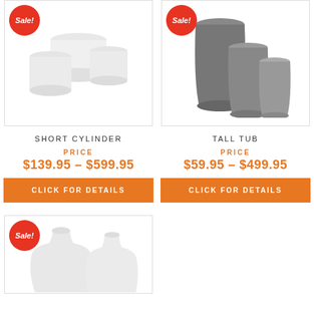[Figure (photo): White short cylinder pots group with Sale badge]
[Figure (photo): Grey tall tub pots group with Sale badge]
SHORT CYLINDER
TALL TUB
PRICE
$139.95 – $599.95
PRICE
$59.95 – $499.95
CLICK FOR DETAILS
CLICK FOR DETAILS
[Figure (photo): White decorative urn/tub pots with Sale badge, partially visible]